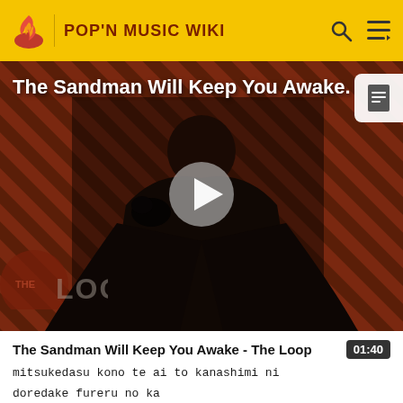POP'N MUSIC WIKI
[Figure (screenshot): Video thumbnail showing The Sandman Will Keep You Awake - The Loop music video with a dark figure and diagonal striped background. THE LOOP watermark in bottom left. Play button in center.]
The Sandman Will Keep You Awake - The Loop  01:40
mitsukedasu kono te ai to kanashimi ni
doredake fureru no ka
boku wa boku de aruteme yami wo tokashite yu